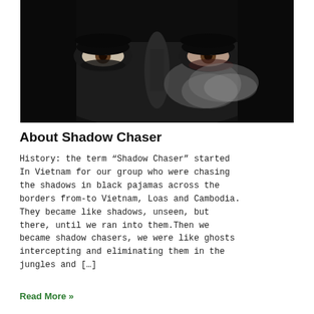[Figure (photo): Close-up photo of a person's eyes with face painted in dark camouflage colors (black and grey), only the eyes and bridge of nose visible, dramatic lighting.]
About Shadow Chaser
History: the term “Shadow Chaser” started In Vietnam for our group who were chasing the shadows in black pajamas across the borders from-to Vietnam, Loas and Cambodia. They became like shadows, unseen, but there, until we ran into them.Then we became shadow chasers, we were like ghosts intercepting and eliminating them in the jungles and […]
Read More »